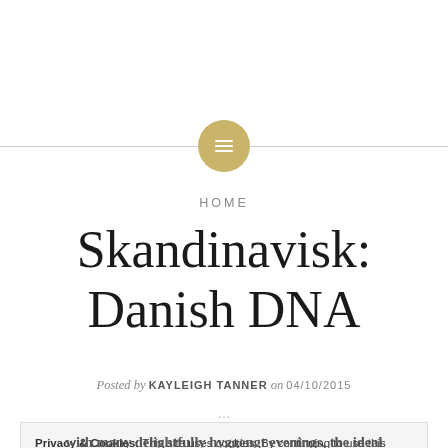[Figure (logo): Gold circular logo with menu/list icon lines, flanked by horizontal grey lines]
HOME
Skandinavisk: Danish DNA
Posted by KAYLEIGH TANNER on 04/10/2015
Privacy & Cookies: This site uses cookies. By continuing to use this website, you agree to their use. To find out more, including how to control cookies, see here: Cookie Policy
Close and accept
with many delightfully hyggengt evenings, the ideal